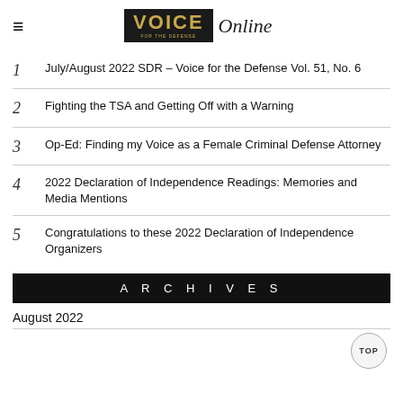VOICE Online
1  July/August 2022 SDR – Voice for the Defense Vol. 51, No. 6
2  Fighting the TSA and Getting Off with a Warning
3  Op-Ed: Finding my Voice as a Female Criminal Defense Attorney
4  2022 Declaration of Independence Readings: Memories and Media Mentions
5  Congratulations to these 2022 Declaration of Independence Organizers
A R C H I V E S
August 2022